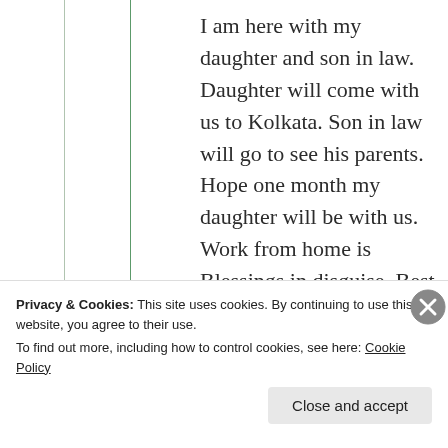I am here with my daughter and son in law. Daughter will come with us to Kolkata. Son in law will go to see his parents. Hope one month my daughter will be with us. Work from home is Blessings in disguise. Best wishes 😊🙏
Privacy & Cookies: This site uses cookies. By continuing to use this website, you agree to their use. To find out more, including how to control cookies, see here: Cookie Policy
Close and accept